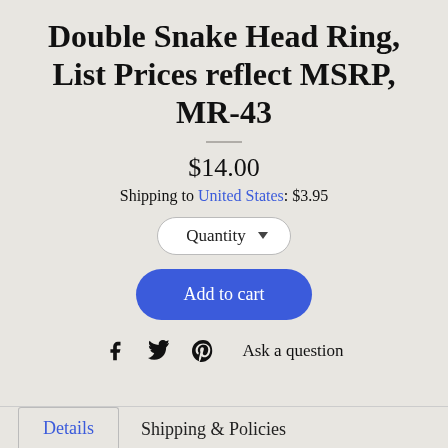Double Snake Head Ring, List Prices reflect MSRP, MR-43
$14.00
Shipping to United States: $3.95
[Figure (other): Quantity dropdown selector button]
[Figure (other): Add to cart blue button]
[Figure (other): Social share icons (Facebook, Twitter, Pinterest) and Ask a question link]
Details | Shipping & Policies